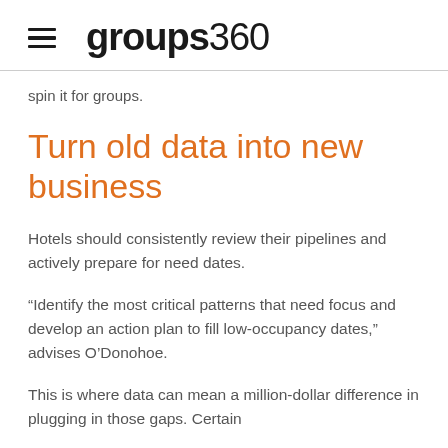groups360
spin it for groups.
Turn old data into new business
Hotels should consistently review their pipelines and actively prepare for need dates.
“Identify the most critical patterns that need focus and develop an action plan to fill low-occupancy dates,” advises O’Donohoe.
This is where data can mean a million-dollar difference in plugging in those gaps. Certain